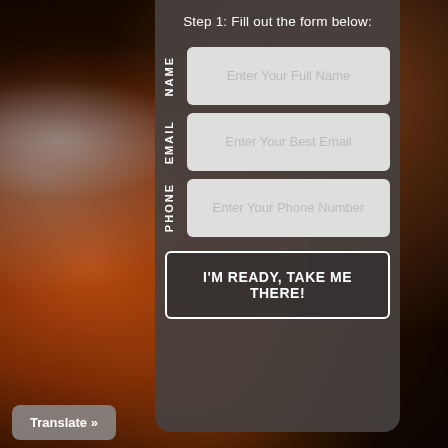[Figure (screenshot): Background image of Earth from space with orange/brown tones and cloud formations visible]
Step 1: Fill out the form below:
NAME | Enter Your Full Name (input field)
EMAIL | Enter Your Best Email (input field)
PHONE | Enter Your Phone Number (input field)
I'M READY, TAKE ME THERE! (button)
Translate »